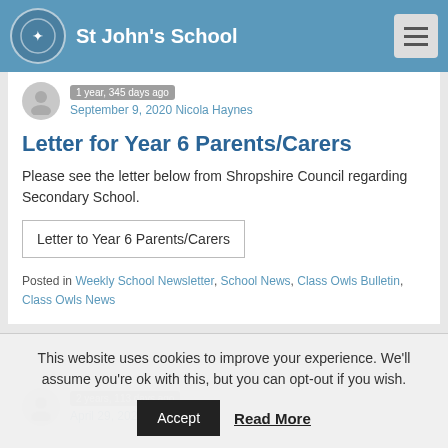St John's School
1 year, 345 days ago
September 9, 2020 Nicola Haynes
Letter for Year 6 Parents/Carers
Please see the letter below from Shropshire Council regarding Secondary School.
Letter to Year 6 Parents/Carers
Posted in Weekly School Newsletter, School News, Class Owls Bulletin, Class Owls News
2 years, 113 days ago
April 29, 2020 Meg Cooke
This website uses cookies to improve your experience. We'll assume you're ok with this, but you can opt-out if you wish.